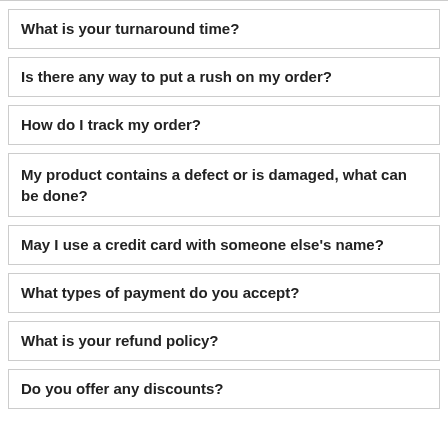What is your turnaround time?
Is there any way to put a rush on my order?
How do I track my order?
My product contains a defect or is damaged, what can be done?
May I use a credit card with someone else's name?
What types of payment do you accept?
What is your refund policy?
Do you offer any discounts?